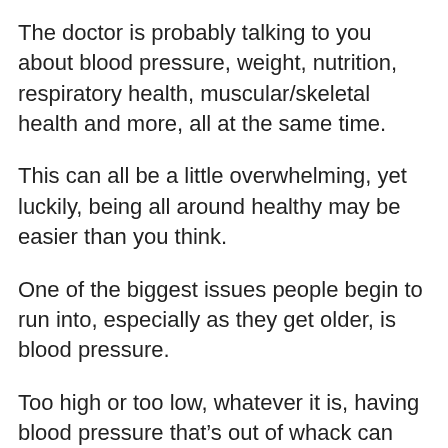The doctor is probably talking to you about blood pressure, weight, nutrition, respiratory health, muscular/skeletal health and more, all at the same time.
This can all be a little overwhelming, yet luckily, being all around healthy may be easier than you think.
One of the biggest issues people begin to run into, especially as they get older, is blood pressure.
Too high or too low, whatever it is, having blood pressure that’s out of whack can throw your whole system off.
Luckily there are a ton of different methods out